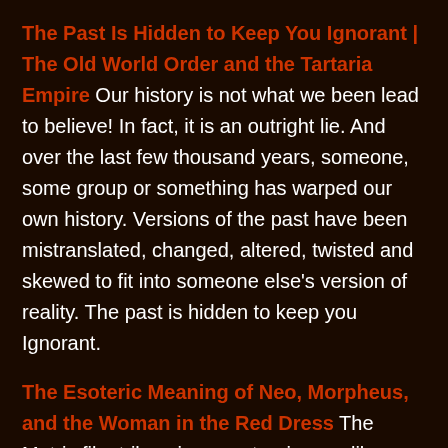The Past Is Hidden to Keep You Ignorant | The Old World Order and the Tartaria Empire Our history is not what we been lead to believe! In fact, it is an outright lie. And over the last few thousand years, someone, some group or something has warped our own history. Versions of the past have been mistranslated, changed, altered, twisted and skewed to fit into someone else's version of reality. The past is hidden to keep you Ignorant.
The Esoteric Meaning of Neo, Morpheus, and the Woman in the Red Dress The Matrix film trilogy is a masterpiece unlike any other I have personally seen. The depth and hidden meaning of